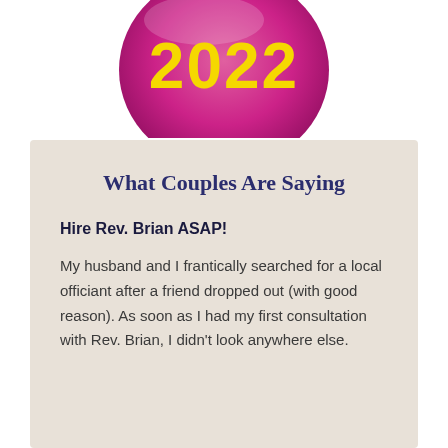[Figure (illustration): Pink/magenta circular badge with yellow text '2022', partially cropped at top of page]
What Couples Are Saying
Hire Rev. Brian ASAP!
My husband and I frantically searched for a local officiant after a friend dropped out (with good reason). As soon as I had my first consultation with Rev. Brian, I didn't look anywhere else.